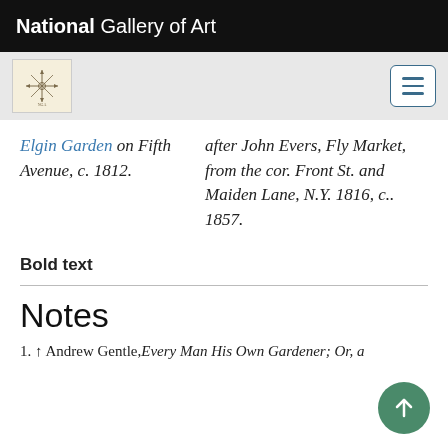National Gallery of Art
[Figure (logo): National Gallery of Art navigation bar with logo and hamburger menu]
Elgin Garden on Fifth Avenue, c. 1812. after John Evers, Fly Market, from the cor. Front St. and Maiden Lane, N.Y. 1816, c.. 1857.
Bold text
Notes
1. ↑ Andrew Gentle, Every Man His Own Gardener; Or, a